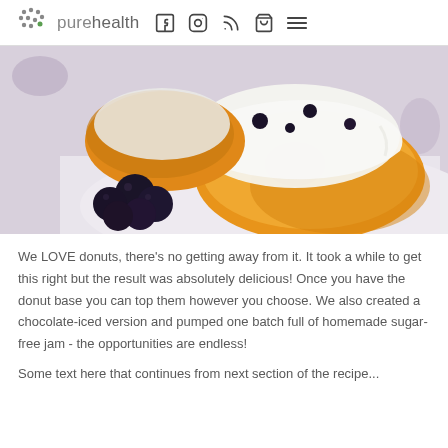purehealth
[Figure (photo): Close-up photo of a glazed donut topped with white icing and blueberries, served on a white plate alongside several fresh blueberries. A decorative floral pattern is visible in the background.]
We LOVE donuts, there’s no getting away from it. It took a while to get this right but the result was absolutely delicious! Once you have the donut base you can top them however you choose. We also created a chocolate-iced version and pumped one batch full of homemade sugar-free jam - the opportunities are endless!